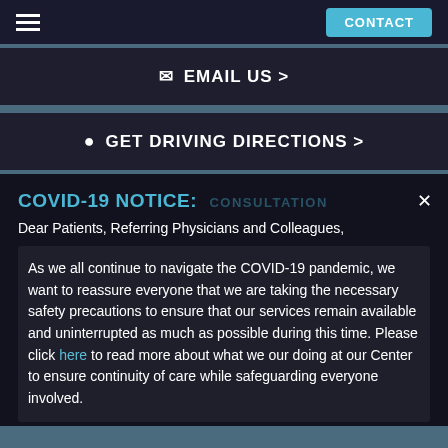CONTACT
EMAIL US >
GET DRIVING DIRECTIONS >
COVID-19 NOTICE:
Dear Patients, Referring Physicians and Colleagues,
As we all continue to navigate the COVID-19 pandemic, we want to reassure everyone that we are taking the necessary safety precautions to ensure that our services remain available and uninterrupted as much as possible during this time. Please click here to read more about what we our doing at our Center to ensure continuity of care while safeguarding everyone involved.